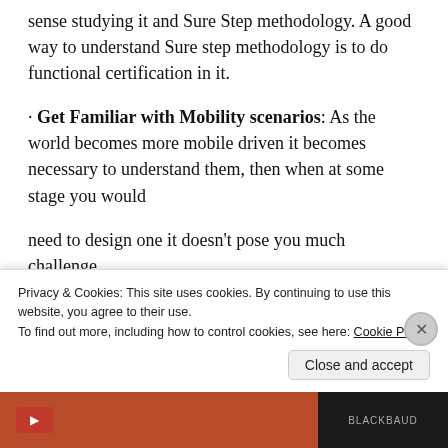sense studying it and Sure Step methodology. A good way to understand Sure step methodology is to do functional certification in it.
· Get Familiar with Mobility scenarios: As the world becomes more mobile driven it becomes necessary to understand them, then when at some stage you would
need to design one it doesn't pose you much challenge.
Privacy & Cookies: This site uses cookies. By continuing to use this website, you agree to their use.
To find out more, including how to control cookies, see here: Cookie Policy
Close and accept